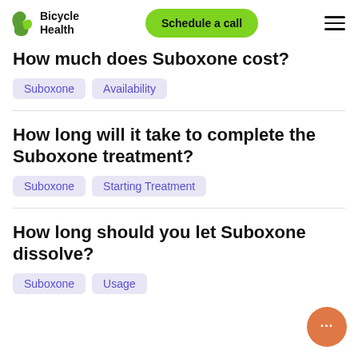Bicycle Health — Schedule a call
How much does Suboxone cost?
Suboxone | Availability
How long will it take to complete the Suboxone treatment?
Suboxone | Starting Treatment
How long should you let Suboxone dissolve?
Suboxone | Usage